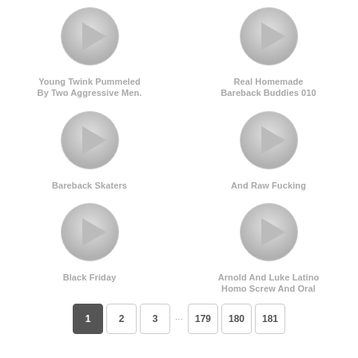[Figure (other): Play button icon for video thumbnail]
Young Twink Pummeled By Two Aggressive Men.
[Figure (other): Play button icon for video thumbnail]
Real Homemade Bareback Buddies 010
[Figure (other): Play button icon for video thumbnail]
Bareback Skaters
[Figure (other): Play button icon for video thumbnail]
And Raw Fucking
[Figure (other): Play button icon for video thumbnail]
Black Friday
[Figure (other): Play button icon for video thumbnail]
Arnold And Luke Latino Homo Screw And Oral
1
2
3
...
179
180
181